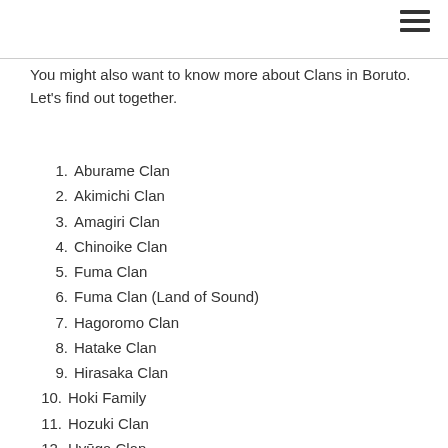You might also want to know more about Clans in Boruto. Let's find out together.
1. Aburame Clan
2. Akimichi Clan
3. Amagiri Clan
4. Chinoike Clan
5. Fuma Clan
6. Fuma Clan (Land of Sound)
7. Hagoromo Clan
8. Hatake Clan
9. Hirasaka Clan
10. Hoki Family
11. Hozuki Clan
12. Hyūga Clan
13. Iburi Clan
14. Inuzuka Clan